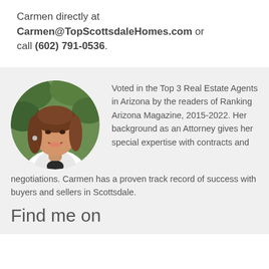Carmen directly at Carmen@TopScottsdaleHomes.com or call (602) 791-0536.
[Figure (photo): Circular profile photo of Carmen, a woman with long brown hair wearing a white blazer, smiling, with green foliage background]
Voted in the Top 3 Real Estate Agents in Arizona by the readers of Ranking Arizona Magazine, 2015-2022. Her background as an Attorney gives her special expertise with contracts and negotiations. Carmen has a proven track record of success with buyers and sellers in Scottsdale.
Find me on